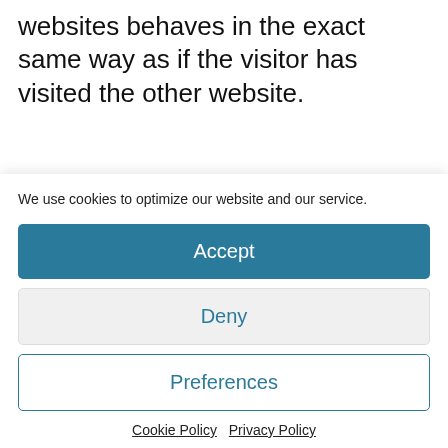websites behaves in the exact same way as if the visitor has visited the other website.
These websites may collect data about you, use cookies, embed additional third-party tracking, and monitor your
We use cookies to optimize our website and our service.
Accept
Deny
Preferences
Cookie Policy  Privacy Policy